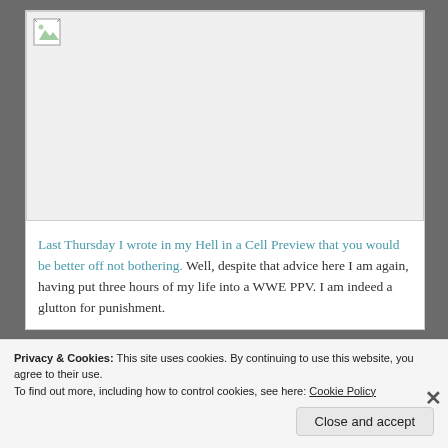[Figure (photo): Broken/missing image placeholder with a small broken image icon in the top-left corner, white/light gray background]
Last Thursday I wrote in my Hell in a Cell Preview that you would be better off not bothering.  Well, despite that advice here I am again, having put three hours of my life into a WWE PPV.  I am indeed a glutton for punishment.
Privacy & Cookies: This site uses cookies. By continuing to use this website, you agree to their use.
To find out more, including how to control cookies, see here: Cookie Policy
Close and accept